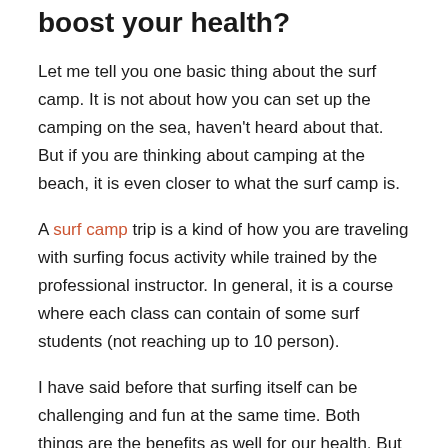boost your health?
Let me tell you one basic thing about the surf camp. It is not about how you can set up the camping on the sea, haven't heard about that. But if you are thinking about camping at the beach, it is even closer to what the surf camp is.
A surf camp trip is a kind of how you are traveling with surfing focus activity while trained by the professional instructor. In general, it is a course where each class can contain of some surf students (not reaching up to 10 person).
I have said before that surfing itself can be challenging and fun at the same time. Both things are the benefits as well for our health. But if you want to know more about what are the other real benefits when you are in a surf